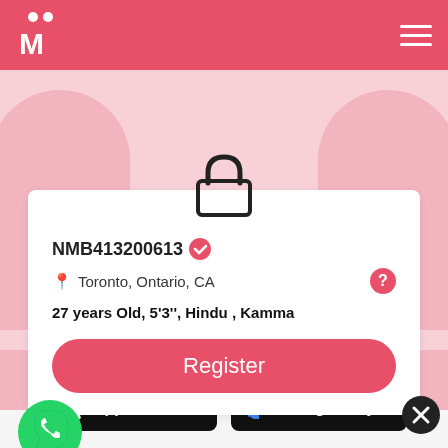[Figure (logo): Matrimony website logo with M letter and two person icons above it, white on pink/red background]
[Figure (screenshot): Mobile matrimony profile page showing a locked profile with padlock icon, user ID NMB413200613, location Toronto Ontario CA, age and details, and a Register button]
NMB413200613
Toronto, Ontario, CA
27 years Old, 5'3'', Hindu , Kamma
Register
[Figure (logo): WhatsApp green logo button]
[Figure (logo): Download on the App Store button, black background with Apple logo]
[Figure (logo): Get it on Google Play button, black background with Google Play triangle logo]